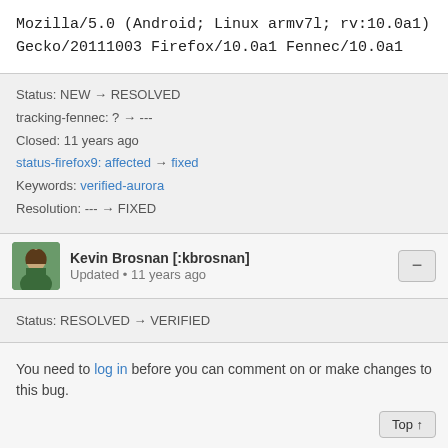Mozilla/5.0 (Android; Linux armv7l; rv:10.0a1) Gecko/20111003 Firefox/10.0a1 Fennec/10.0a1
Status: NEW → RESOLVED
tracking-fennec: ? → ---
Closed: 11 years ago
status-firefox9: affected → fixed
Keywords: verified-aurora
Resolution: --- → FIXED
Kevin Brosnan [:kbrosnan]
Updated • 11 years ago
Status: RESOLVED → VERIFIED
You need to log in before you can comment on or make changes to this bug.